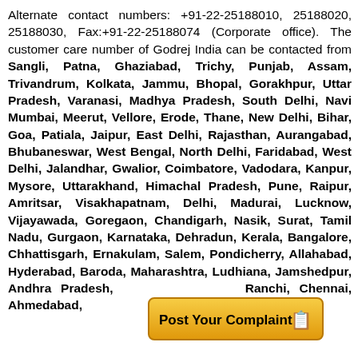Alternate contact numbers: +91-22-25188010, 25188020, 25188030, Fax:+91-22-25188074 (Corporate office). The customer care number of Godrej India can be contacted from Sangli, Patna, Ghaziabad, Trichy, Punjab, Assam, Trivandrum, Kolkata, Jammu, Bhopal, Gorakhpur, Uttar Pradesh, Varanasi, Madhya Pradesh, South Delhi, Navi Mumbai, Meerut, Vellore, Erode, Thane, New Delhi, Bihar, Goa, Patiala, Jaipur, East Delhi, Rajasthan, Aurangabad, Bhubaneswar, West Bengal, North Delhi, Faridabad, West Delhi, Jalandhar, Gwalior, Coimbatore, Vadodara, Kanpur, Mysore, Uttarakhand, Himachal Pradesh, Pune, Raipur, Amritsar, Visakhapatnam, Delhi, Madurai, Lucknow, Vijayawada, Goregaon, Chandigarh, Nasik, Surat, Tamil Nadu, Gurgaon, Karnataka, Dehradun, Kerala, Bangalore, Chhattisgarh, Ernakulam, Salem, Pondicherry, Allahabad, Hyderabad, Baroda, Maharashtra, Ludhiana, Jamshedpur, Andhra Pradesh, Ranchi, Chennai, Ahmedabad, ... ipur, Mangalore,
[Figure (other): Orange/yellow button overlay reading 'Post Your Complaint' with a pencil/paper icon]